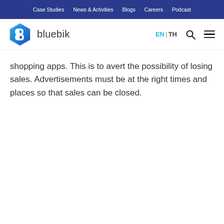Case Studies | News & Activities | Blogs | Careers | Podcast
[Figure (logo): Bluebik logo — blue hexagonal icon with letter B and text 'bluebik']
shopping apps. This is to avert the possibility of losing sales. Advertisements must be at the right times and places so that sales can be closed.